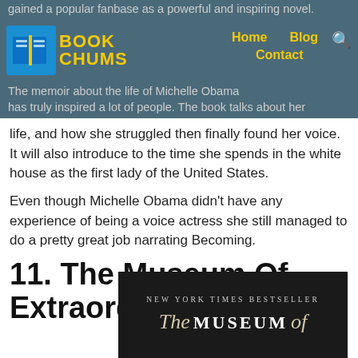gained a popular fanbase as a powerful and inspiring novel.
[Figure (logo): Book Chums logo with open book icon and yellow text, navigation links Home, Blog, Contact in yellow]
The memoir about the life of Michelle Obama has truly inspired a lot of people. The book talks about her life, and how she struggled then finally found her voice. It will also introduce to the time she spends in the white house as the first lady of the United States.
Even though Michelle Obama didn't have any experience of being a voice actress she still managed to do a pretty great job narrating Becoming.
11. The Museum Of Extraordinary Things
[Figure (photo): Book cover of The Museum of Extraordinary Things on black background with 'NEW YORK TIMES BESTSELLER' text and styled title text]